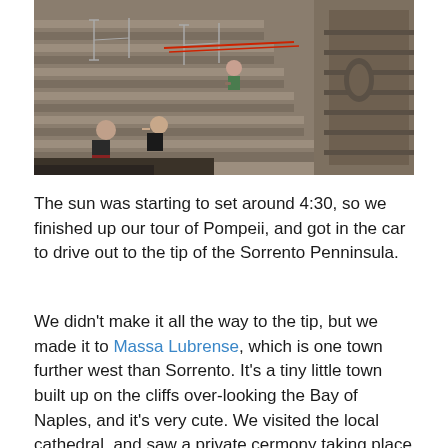[Figure (photo): Ancient Roman theater/amphitheater ruins at Pompeii. People are sitting on stone steps; one person appears to be taking a photo. Stone seating rows and a wall with carved ornaments are visible in warm dusk light.]
The sun was starting to set around 4:30, so we finished up our tour of Pompeii, and got in the car to drive out to the tip of the Sorrento Penninsula.
We didn't make it all the way to the tip, but we made it to Massa Lubrense, which is one town further west than Sorrento. It's a tiny little town built up on the cliffs over-looking the Bay of Naples, and it's very cute. We visited the local cathedral, and saw a private cermony taking place in the channel next to the cathedral, then